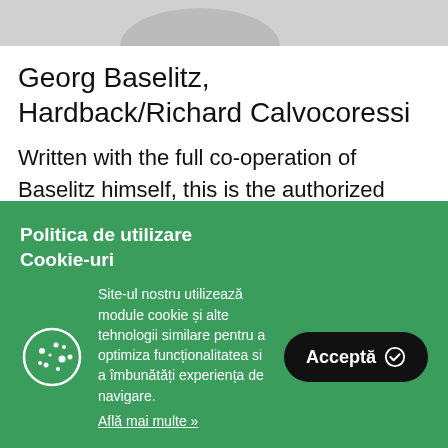[Figure (photo): Partial image at the top of the page, mostly cropped]
Georg Baselitz, Hardback/Richard Calvocoressi
Written with the full co-operation of Baselitz himself, this is the authorized monograph on one of the most influential and respected
Politica de utilizare Cookie-uri
Site-ul nostru utilizează module cookie și alte tehnologii similare pentru a optimiza funcționalitatea si a îmbunătăți experiența de navigare.
Află mai multe »